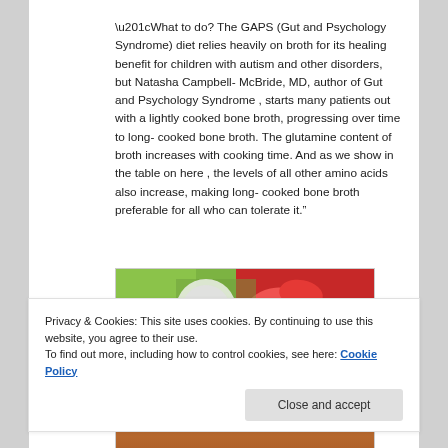“What to do? The GAPS (Gut and Psychology Syndrome) diet relies heavily on broth for its healing benefit for children with autism and other disorders, but Natasha Campbell- McBride, MD, author of Gut and Psychology Syndrome , starts many patients out with a lightly cooked bone broth, progressing over time to long- cooked bone broth. The glutamine content of broth increases with cooking time. And as we show in the table on here , the levels of all other amino acids also increase, making long- cooked bone broth preferable for all who can tolerate it.”
[Figure (photo): Photo of food ingredients including red peppers, green vegetables, and a bowl, partially visible]
Privacy & Cookies: This site uses cookies. By continuing to use this website, you agree to their use.
To find out more, including how to control cookies, see here: Cookie Policy